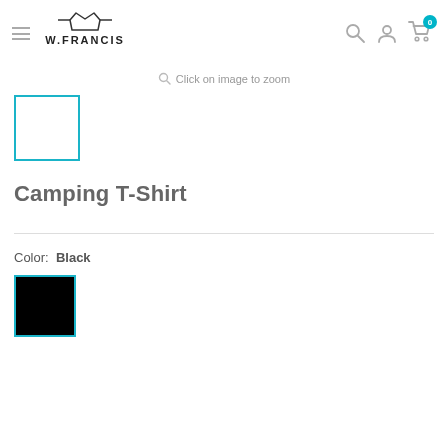[Figure (logo): W.Francis logo with crown icon and hamburger menu icon on the left side of the header]
[Figure (other): Header icons: search, user account, and shopping cart with badge showing 0]
Click on image to zoom
[Figure (other): Product thumbnail placeholder — white square with teal/cyan border]
Camping T-Shirt
Color: Black
[Figure (other): Black color swatch with teal/cyan border indicating selected color]